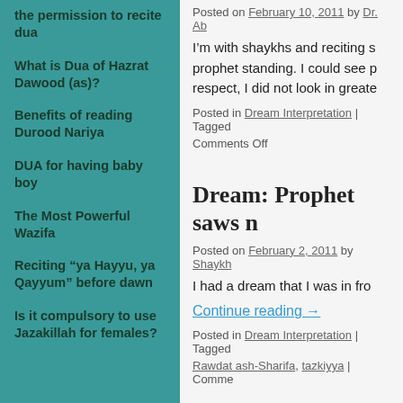the permission to recite dua
What is Dua of Hazrat Dawood (as)?
Benefits of reading Durood Nariya
DUA for having baby boy
The Most Powerful Wazifa
Reciting “ya Hayyu, ya Qayyum” before dawn
Is it compulsory to use Jazakillah for females?
Posted on February 10, 2011 by Dr. Ab
I'm with shaykhs and reciting s prophet standing. I could see p respect, I did not look in greate
Posted in Dream Interpretation | Tagged
Comments Off
Dream: Prophet saws n
Posted on February 2, 2011 by Shaykh
I had a dream that I was in fro
Continue reading →
Posted in Dream Interpretation | Tagged
Rawdat ash-Sharifa, tazkiyya | Comme
Prayer Request: To Sto